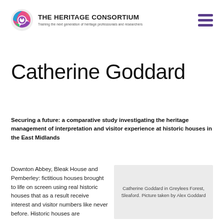THE HERITAGE CONSORTIUM — Training the next generation of heritage professionals and researchers
Catherine Goddard
Securing a future: a comparative study investigating the heritage management of interpretation and visitor experience at historic houses in the East Midlands
Downton Abbey, Bleak House and Pemberley: fictitious houses brought to life on screen using real historic houses that as a result receive interest and visitor numbers like never before. Historic houses are
Catherine Goddard in Greylees Forest, Sleaford. Picture taken by Alex Goddard